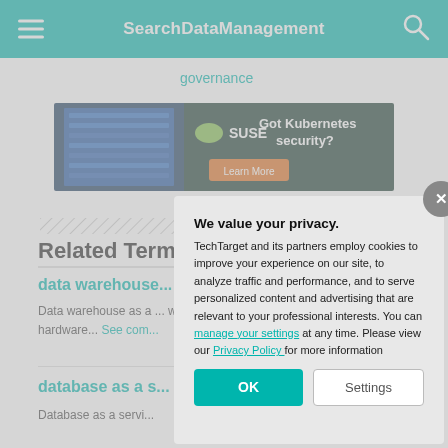SearchDataManagement
governance
[Figure (screenshot): SUSE advertisement banner: 'Got Kubernetes security?' with Learn More button on dark green background with server image]
Related Terms
data warehouse...
Data warehouse as a ... which a cloud service ... hardware... See com...
database as a s...
Database as a servi...
We value your privacy.

TechTarget and its partners employ cookies to improve your experience on our site, to analyze traffic and performance, and to serve personalized content and advertising that are relevant to your professional interests. You can manage your settings at any time. Please view our Privacy Policy for more information